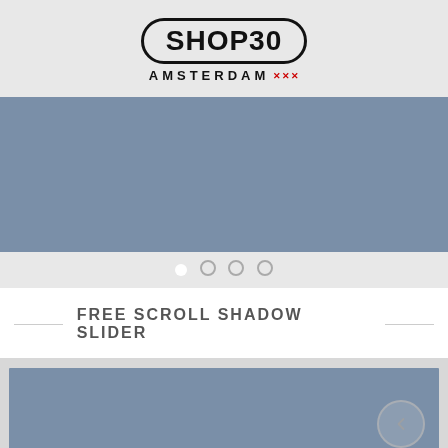[Figure (logo): SHOP30 Amsterdam logo with rounded rectangle border and red XXX marks]
[Figure (screenshot): Blue-grey slider banner placeholder, first slide active]
[Figure (infographic): Four pagination dots: first filled white, three outlined]
FREE SCROLL SHADOW SLIDER
[Figure (screenshot): Blue-grey slider banner placeholder with circular arrow button at bottom right]